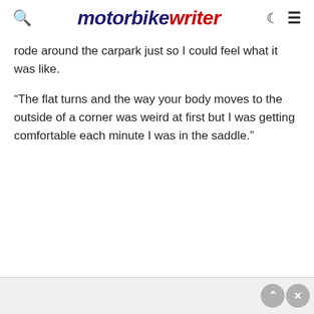motorbike writer
rode around the carpark just so I could feel what it was like.
“The flat turns and the way your body moves to the outside of a corner was weird at first but I was getting comfortable each minute I was in the saddle.”